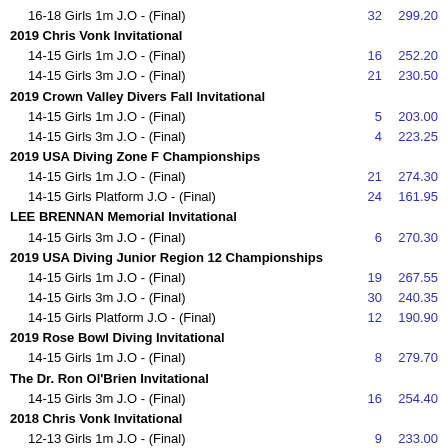16-18 Girls 1m J.O - (Final)
2019 Chris Vonk Invitational
14-15 Girls 1m J.O - (Final)
14-15 Girls 3m J.O - (Final)
2019 Crown Valley Divers Fall Invitational
14-15 Girls 1m J.O - (Final)
14-15 Girls 3m J.O - (Final)
2019 USA Diving Zone F Championships
14-15 Girls 1m J.O - (Final)
14-15 Girls Platform J.O - (Final)
LEE BRENNAN Memorial Invitational
14-15 Girls 3m J.O - (Final)
2019 USA Diving Junior Region 12 Championships
14-15 Girls 1m J.O - (Final)
14-15 Girls 3m J.O - (Final)
14-15 Girls Platform J.O - (Final)
2019 Rose Bowl Diving Invitational
14-15 Girls 1m J.O - (Final)
The Dr. Ron Ol'Brien Invitational
14-15 Girls 3m J.O - (Final)
2018 Chris Vonk Invitational
12-13 Girls 1m J.O - (Final)
12-13 Girls 3m J.O - (Final)
2018 Crown Valley Divers Fall Invitational
12-13 Girls 1m J.O - (Final)
2018 USA Diving Junior National Championships
12-13 Girls 1m J.O - (Prelim/Quarterfinal)
2018 USA Diving Zone F Championships